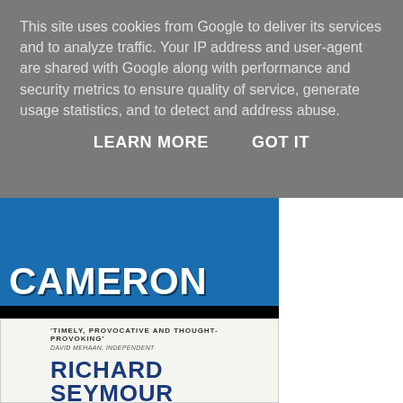This site uses cookies from Google to deliver its services and to analyze traffic. Your IP address and user-agent are shared with Google along with performance and security metrics to ensure quality of service, generate usage statistics, and to detect and address abuse.
LEARN MORE   GOT IT
[Figure (photo): Book cover showing 'DAVID CAMERON' in large white bold text on a blue background, with 'RICHARD SEYMOUR' in white bold text on a black background below]
[Figure (photo): Book cover with quote 'TIMELY, PROVOCATIVE AND THOUGHT-PROVOKING' attributed to 'DAVID MEHAAN, INDEPENDENT' and author name 'RICHARD SEYMOUR' in large blue bold text]